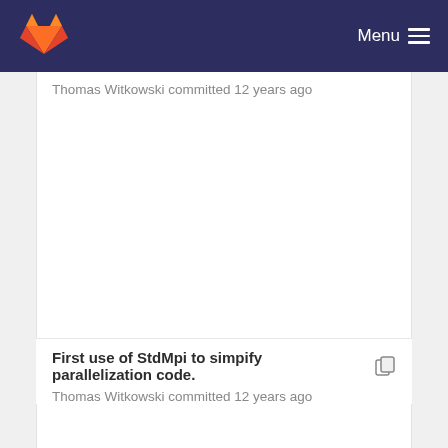Menu
Thomas Witkowski committed 12 years ago
First use of StdMpi to simpify parallelization code.
Thomas Witkowski committed 12 years ago